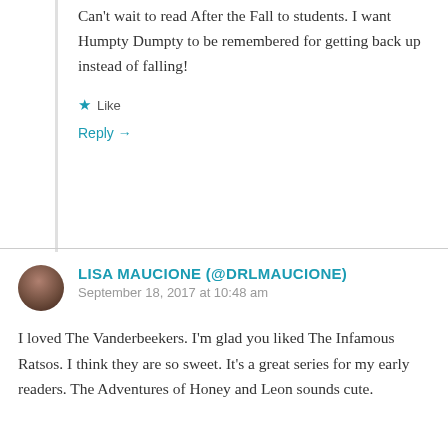Can't wait to read After the Fall to students. I want Humpty Dumpty to be remembered for getting back up instead of falling!
★ Like
Reply →
LISA MAUCIONE (@DRLMAUCIONE)
September 18, 2017 at 10:48 am
I loved The Vanderbeekers. I'm glad you liked The Infamous Ratsos. I think they are so sweet. It's a great series for my early readers. The Adventures of Honey and Leon sounds cute.